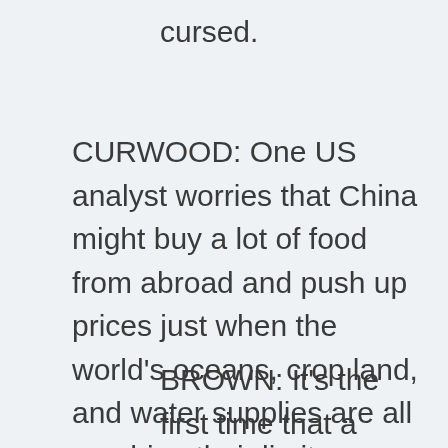cursed.
CURWOOD: One US analyst worries that China might buy a lot of food from abroad and push up prices just when the world's oceans, crop land, and water supplies are all reaching their limits.
BROWN: It's the first time that a series of collisions is going